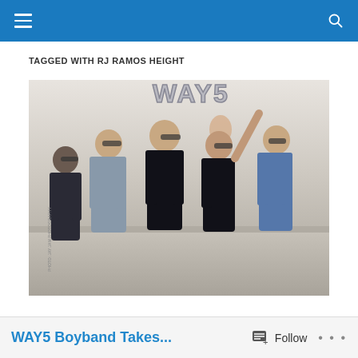Navigation header bar with menu and search icons
TAGGED WITH RJ RAMOS HEIGHT
[Figure (photo): Five young men standing together on a rooftop, one holding up a sign spelling 'WAY5'. They are wearing casual stylish clothing, some with sunglasses. The background shows an overcast sky and rooftop ledge.]
WAY5 Boyband Takes...
Follow • • •